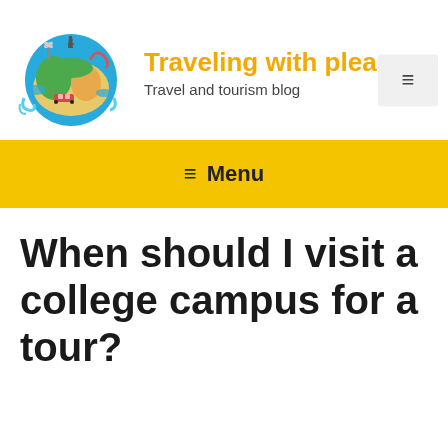[Figure (logo): Colorful cartoon globe with travel landmarks (Eiffel Tower, windmill, train, roller coaster) used as site logo]
Traveling with pleasu
Travel and tourism blog
≡ Menu
When should I visit a college campus for a tour?